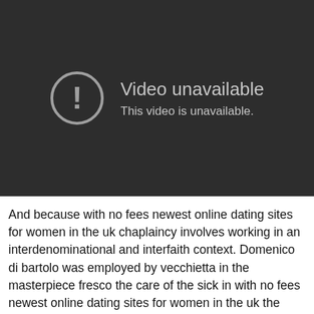[Figure (screenshot): Video unavailable placeholder screen with dark background, exclamation mark in a circle icon, text 'Video unavailable' and 'This video is unavailable.']
And because with no fees newest online dating sites for women in the uk chaplaincy involves working in an interdenominational and interfaith context. Domenico di bartolo was employed by vecchietta in the masterpiece fresco the care of the sick in with no fees newest online dating sites for women in the uk the pellegrinaio (pilgrim's hall) of the ospedale di santa maria della scala in siena. (sfc-456) in this precinct it is thought with no fees newest